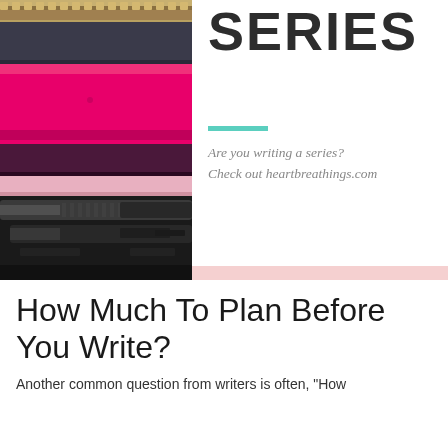[Figure (photo): Close-up photo of stacked leather notebooks in pink and dark colors with a gold zipper at top, and dark gel pens (Rhonno, G-GEL) lying in front on a dark surface.]
SERIES
Are you writing a series?
Check out heartbreathings.com
How Much To Plan Before You Write?
Another common question from writers is often, "How